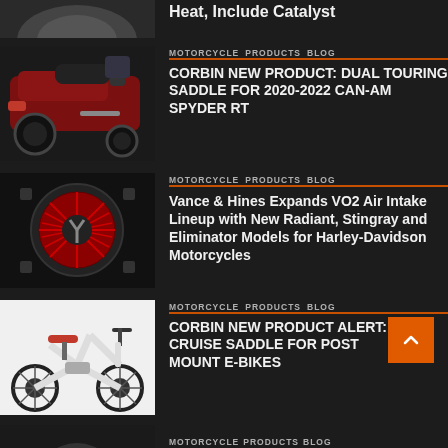[Figure (photo): Partial top image of a motorcycle/vehicle, cropped at top]
Heat, Include Catalyst
[Figure (photo): Red Can-Am Spyder RT three-wheel motorcycle]
MOTORCYCLE  PRODUCTS  BLOG
CORBIN NEW PRODUCT: DUAL TOURING SADDLE FOR 2020-2022 CAN-AM SPYDER RT
[Figure (photo): Vance & Hines VO2 air intake with red filter on black background]
MOTORCYCLE  PRODUCTS  BLOG
Vance & Hines Expands VO2 Air Intake Lineup with New Radiant, Stingray and Eliminator Models for Harley-Davidson Motorcycles
[Figure (photo): White and red e-bike with fat tires on white background]
MOTORCYCLE  PRODUCTS  BLOG
CORBIN NEW PRODUCT ALERT: CRUISE SADDLE FOR POST MOUNT E-BIKES
[Figure (photo): Partial bottom image of a motorcycle product, cropped]
MOTORCYCLE  PRODUCTS  BLOG